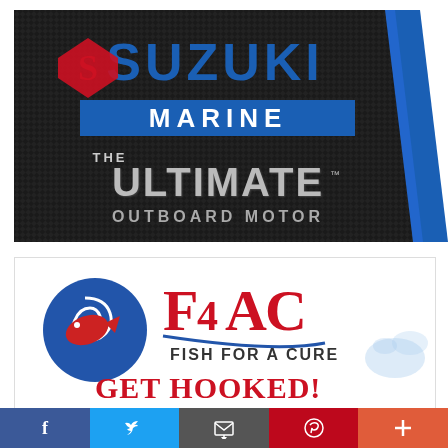[Figure (logo): Suzuki Marine logo — dark carbon-fiber background with red Suzuki S emblem, blue SUZUKI text, blue MARINE band, and silver THE ULTIMATE OUTBOARD MOTOR text. Blue vertical stripe on right edge.]
[Figure (logo): Fish For A Cure (FFAC) logo — circular blue/red fish icon on left, large red F4AC letters with blue swoosh, text FISH FOR A CURE below, GET HOOKED! in red at bottom, water splash on right.]
[Figure (infographic): Social sharing bar at bottom with Facebook, Twitter, Email, Pinterest and Plus buttons in blue, light blue, grey, red, and orange-red.]